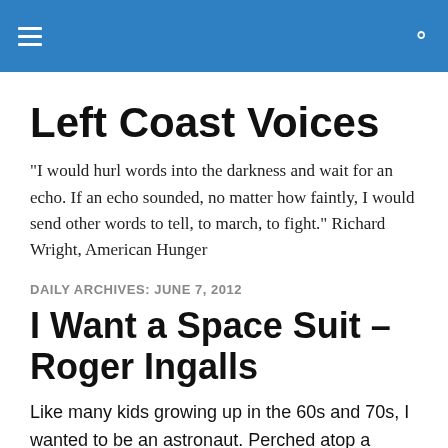Left Coast Voices [navigation header with hamburger menu and search icon]
Left Coast Voices
"I would hurl words into the darkness and wait for an echo. If an echo sounded, no matter how faintly, I would send other words to tell, to march, to fight." Richard Wright, American Hunger
DAILY ARCHIVES: JUNE 7, 2012
I Want a Space Suit – Roger Ingalls
Like many kids growing up in the 60s and 70s, I wanted to be an astronaut. Perched atop a metal tube filled with mega-amounts of explosives, blasting through space